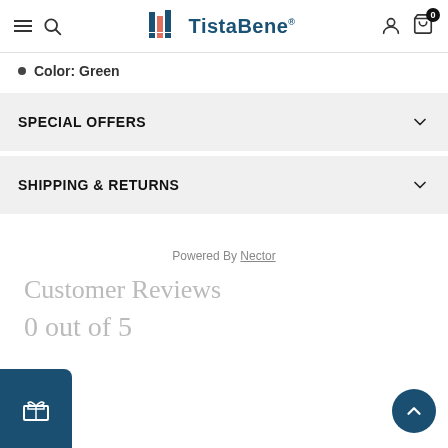TistaBene – navigation header with hamburger, search, logo, account, and cart icons
Color: Green
SPECIAL OFFERS
SHIPPING & RETURNS
Powered By Nector
Customer Reviews
0 out of 5